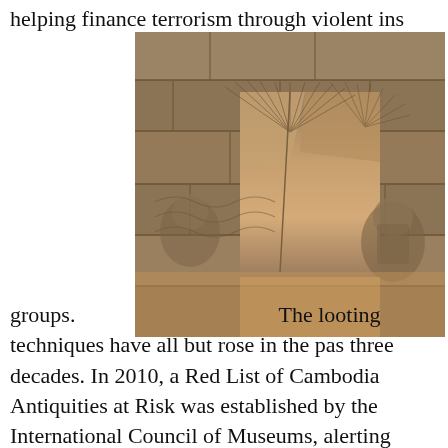helping finance terrorism through violent ins
[Figure (photo): Stone bas-relief carving from a Cambodian temple (likely Angkor Wat/Bayon) showing intricate figures and decorative patterns carved into sandstone blocks]
groups. The looting techniques have all but rose in the pas three decades. In 2010, a Red List of Cambodia Antiquities at Risk was established by the International Council of Museums, alerting international law enforcement agencies and customs officials to try and prevent the blood antiquities trade from further flourishing(Prim 4). In the 2011, the revolution of Egypt created